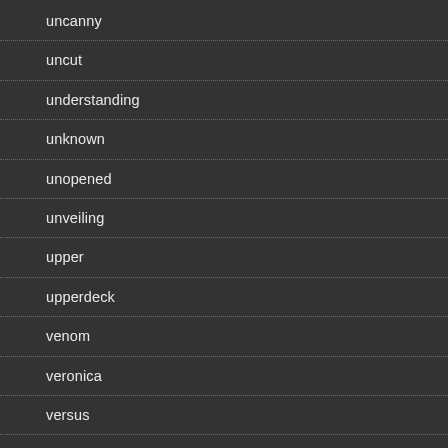uncanny
uncut
understanding
unknown
unopened
unveiling
upper
upperdeck
venom
veronica
versus
very
vintage